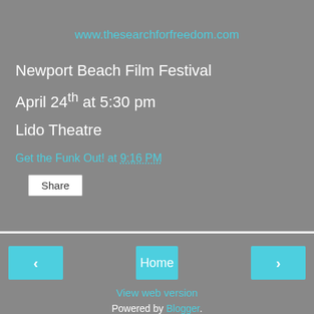www.thesearchforfreedom.com
Newport Beach Film Festival
April 24th at 5:30 pm
Lido Theatre
Get the Funk Out! at 9:16 PM
Share
‹
Home
›
View web version
Powered by Blogger.